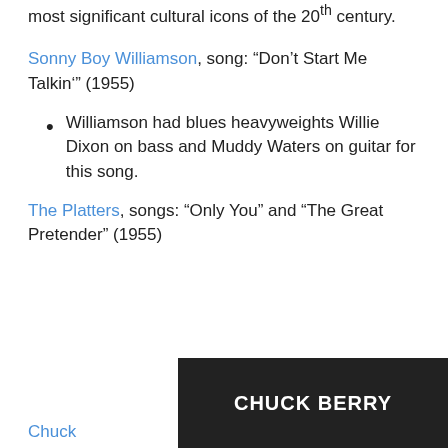most significant cultural icons of the 20th century.
Sonny Boy Williamson, song: “Don’t Start Me Talkin’” (1955)
Williamson had blues heavyweights Willie Dixon on bass and Muddy Waters on guitar for this song.
The Platters, songs: “Only You” and “The Great Pretender” (1955)
Chuck
[Figure (photo): Black and white image with text CHUCK BERRY in bold white letters]